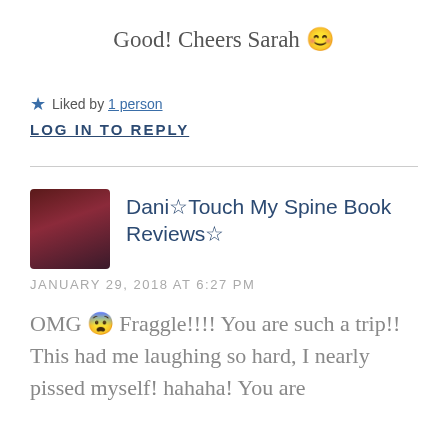Good! Cheers Sarah 😊
Liked by 1 person
LOG IN TO REPLY
Dani☆Touch My Spine Book Reviews☆
JANUARY 29, 2018 AT 6:27 PM
OMG 😮 Fraggle!!!! You are such a trip!! This had me laughing so hard, I nearly pissed myself! hahaha! You are